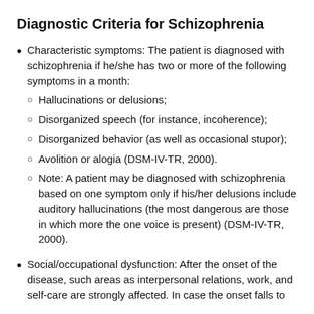Diagnostic Criteria for Schizophrenia
Characteristic symptoms: The patient is diagnosed with schizophrenia if he/she has two or more of the following symptoms in a month:
Hallucinations or delusions;
Disorganized speech (for instance, incoherence);
Disorganized behavior (as well as occasional stupor);
Avolition or alogia (DSM-IV-TR, 2000).
Note: A patient may be diagnosed with schizophrenia based on one symptom only if his/her delusions include auditory hallucinations (the most dangerous are those in which more the one voice is present) (DSM-IV-TR, 2000).
Social/occupational dysfunction: After the onset of the disease, such areas as interpersonal relations, work, and self-care are strongly affected. In case the onset falls to